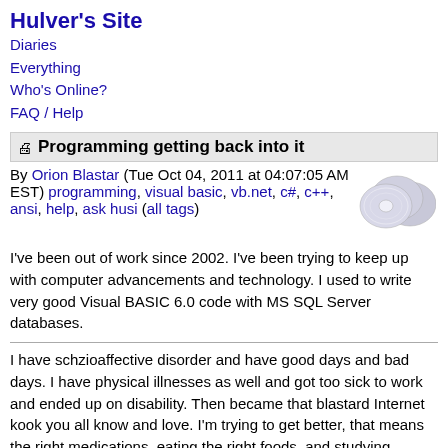Hulver's Site
Diaries
Everything
Who's Online?
FAQ / Help
🖨 Programming getting back into it
By Orion Blastar (Tue Oct 04, 2011 at 04:07:05 AM EST) programming, visual basic, vb.net, c#, c++, ansi, help, ask husi (all tags)
I've been out of work since 2002. I've been trying to keep up with computer advancements and technology. I used to write very good Visual BASIC 6.0 code with MS SQL Server databases.
I have schzioaffective disorder and have good days and bad days. I have physical illnesses as well and got too sick to work and ended up on disability. Then became that blastard Internet kook you all know and love. I'm trying to get better, that means the right medications, eating the right foods, and studying meditation and other stuff.